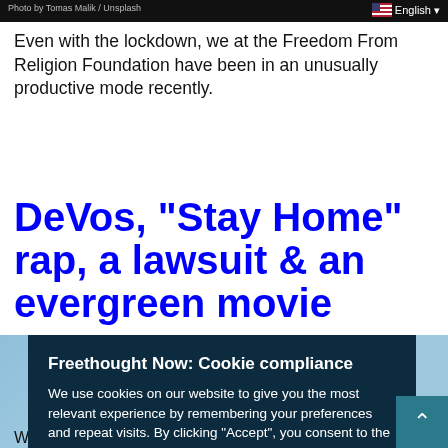Photo by Tomas Malik / Unsplash
Even with the lockdown, we at the Freedom From Religion Foundation have been in an unusually productive mode recently.
DeVos, “Stay Home” rap, a lawsuit & an evergreen movie
[Figure (photo): Article header image showing a building exterior with a doorway, light blue background]
Freethought Now: Cookie compliance
We use cookies on our website to give you the most relevant experience by remembering your preferences and repeat visits. By clicking “Accept”, you consent to the use of ALL the cookies.
Cookie Settings   Accept
We at the Freedom From Religion Foundation are handling